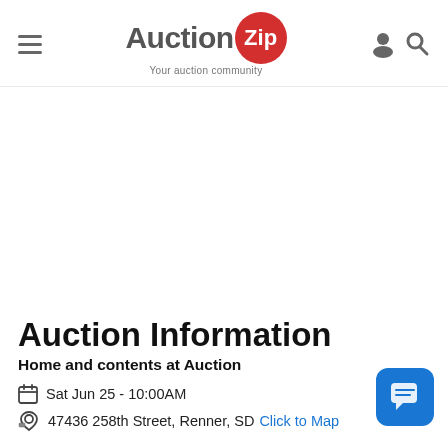[Figure (logo): AuctionZip logo with red circle containing 'Zip' text and tagline 'Your auction community']
Auction Information
Home and contents at Auction
Sat Jun 25 - 10:00AM
47436 258th Street, Renner, SD Click to Map